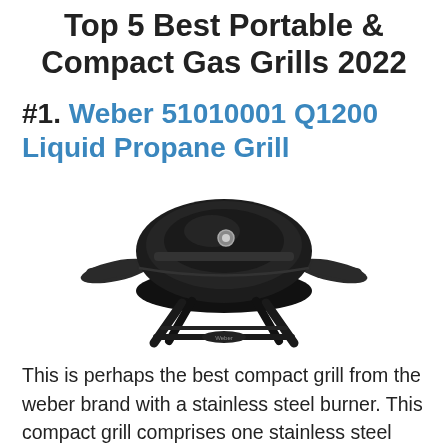Top 5 Best Portable & Compact Gas Grills 2022
#1. Weber 51010001 Q1200 Liquid Propane Grill
[Figure (photo): Weber Q1200 Liquid Propane Grill in black, a compact portable gas grill with round dome lid and fold-out side tables, viewed from above at slight angle]
This is perhaps the best compact grill from the weber brand with a stainless steel burner. This compact grill comprises one stainless steel burner that burns at 8500 BTUs per hour. This grill is capable of heating about 189 square inches of total cooking